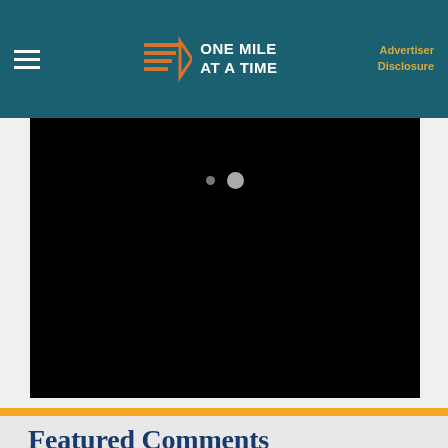ONE MILE AT A TIME — Advertiser Disclosure
[Figure (photo): Black rectangular media/image area with two carousel indicator dots at top center]
Featured Comments
View all comments (64)
Write a comment